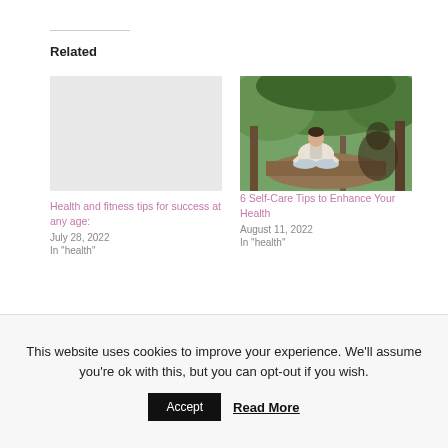Related
[Figure (other): No image shown for first related article card (blank area)]
Health and fitness tips for success at any age:
July 28, 2022
In "health"
[Figure (photo): Photo of a woman meditating outdoors in a forest setting, sitting in lotus pose on a log surrounded by green trees]
6 Self-Care Tips to Enhance Your Health
August 11, 2022
In "health"
This website uses cookies to improve your experience. We'll assume you're ok with this, but you can opt-out if you wish.
Accept   Read More